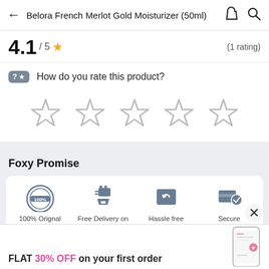← Belora French Merlot Gold Moisturizer (50ml)
4.1 / 5 ★  (1 rating)
? ★  How do you rate this product?
[Figure (other): Five empty star outlines for user rating input]
Foxy Promise
[Figure (infographic): Four promise icons: 100% Original Products, Free Delivery on Prepaid, Hassle free Returns, Secure Payments]
FLAT 30% OFF on your first order